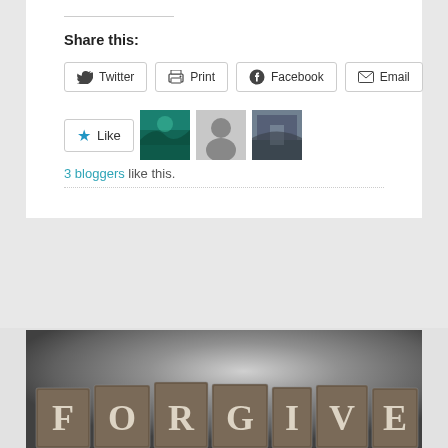Share this:
Twitter
Print
Facebook
Email
3 bloggers like this.
[Figure (photo): Letterpress metal type blocks spelling FORGIVE, photographed with shallow depth of field against a blurred gray background]